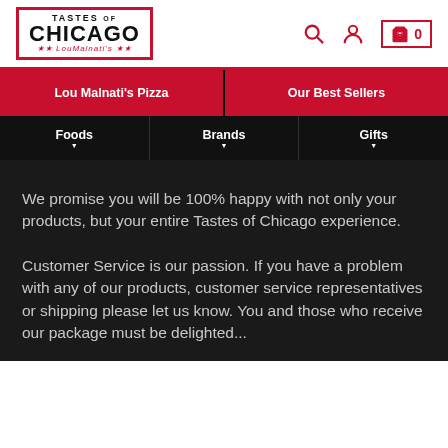[Figure (logo): Tastes of Chicago Lou Malnati's logo with red border]
Lou Malnati's Pizza | Our Best Sellers | Foods | Brands | Gifts
We promise you will be 100% happy with not only your products, but your entire Tastes of Chicago experience.
Customer Service is our passion. If you have a problem with any of our products, customer service representatives or shipping please let us know. You and those who receive our package must be delighted...